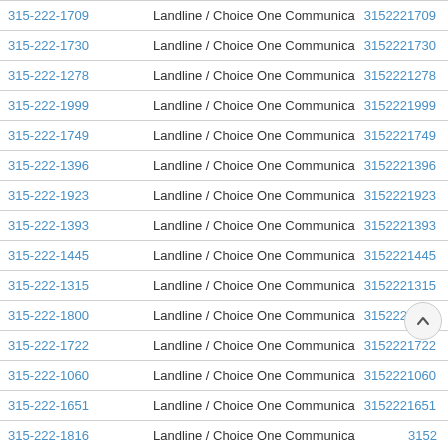| Phone | Type | Number |
| --- | --- | --- |
| 315-222-1709 | Landline / Choice One Communications | 3152221709 |
| 315-222-1730 | Landline / Choice One Communications | 3152221730 |
| 315-222-1278 | Landline / Choice One Communications | 3152221278 |
| 315-222-1999 | Landline / Choice One Communications | 3152221999 |
| 315-222-1749 | Landline / Choice One Communications | 3152221749 |
| 315-222-1396 | Landline / Choice One Communications | 3152221396 |
| 315-222-1923 | Landline / Choice One Communications | 3152221923 |
| 315-222-1393 | Landline / Choice One Communications | 3152221393 |
| 315-222-1445 | Landline / Choice One Communications | 3152221445 |
| 315-222-1315 | Landline / Choice One Communications | 3152221315 |
| 315-222-1800 | Landline / Choice One Communications | 3152221800 |
| 315-222-1722 | Landline / Choice One Communications | 3152221722 |
| 315-222-1060 | Landline / Choice One Communications | 3152221060 |
| 315-222-1651 | Landline / Choice One Communications | 3152221651 |
| 315-222-1816 | Landline / Choice One Communications | 315221816(partial) |
| 315-222-1566 | Landline / Choice One Communications | 31522(partial) |
| 315-222-1620 | Landline / Choice One Communications | 3152221620 |
| 315-222-1289 | Landline / Choice One Communications | 3152221289 |